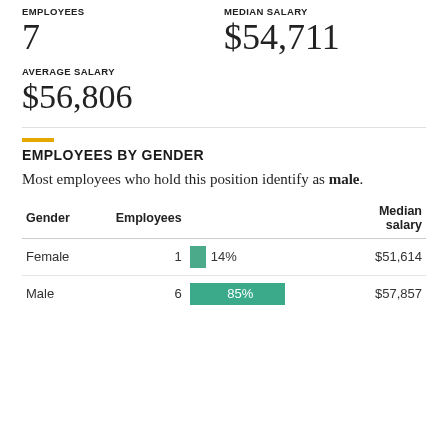EMPLOYEES: 7   MEDIAN SALARY: $54,711
AVERAGE SALARY
$56,806
EMPLOYEES BY GENDER
Most employees who hold this position identify as male.
| Gender | Employees |  | Median salary |
| --- | --- | --- | --- |
| Female | 1 | 14% | $51,614 |
| Male | 6 | 85% | $57,857 |